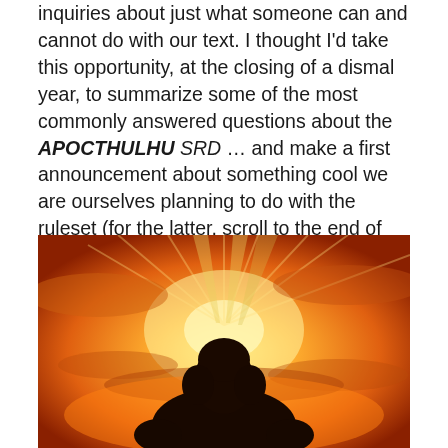inquiries about just what someone can and cannot do with our text. I thought I'd take this opportunity, at the closing of a dismal year, to summarize some of the most commonly answered questions about the APOCTHULHU SRD … and make a first announcement about something cool we are ourselves planning to do with the ruleset (for the latter, scroll to the end of this post).
[Figure (photo): A silhouette of a hooded person seen from behind, facing a dramatic orange and yellow sunset sky with rays of light breaking through clouds.]